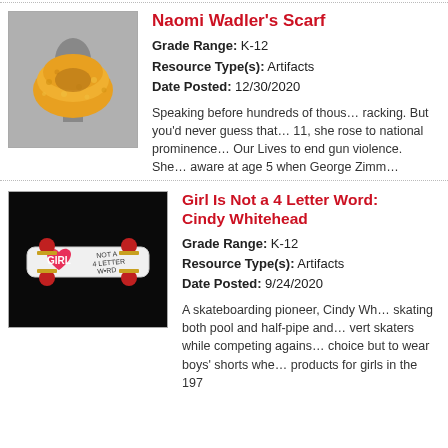[Figure (photo): Orange/yellow knit infinity scarf draped on a gray mannequin neck stand]
Naomi Wadler's Scarf
Grade Range: K-12
Resource Type(s): Artifacts
Date Posted: 12/30/2020
Speaking before hundreds of thousands of people is nerve-racking. But you'd never guess that from Naomi Wadler. At 11, she rose to national prominence at the March for Our Lives to end gun violence. She became politically aware at age 5 when George Zimm...
[Figure (photo): White skateboard with pink heart and 'GIRL NOT A 4 LETTER WORD' text, with red wheels, on black background]
Girl Is Not a 4 Letter Word: Cindy Whitehead
Grade Range: K-12
Resource Type(s): Artifacts
Date Posted: 9/24/2020
A skateboarding pioneer, Cindy Whitehead excelled at skating both pool and half-pipe and dominated male vert skaters while competing against them. She had no choice but to wear boys' shorts when there were no products for girls in the 197...